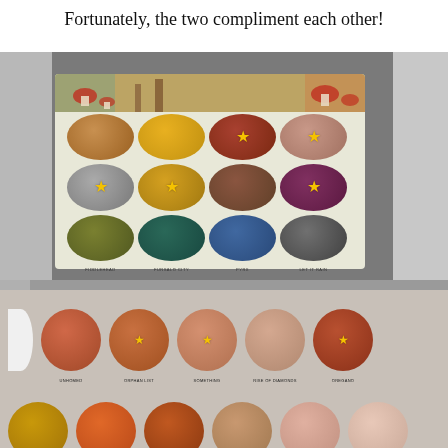Fortunately, the two compliment each other!
[Figure (photo): Two makeup eyeshadow palettes photographed together. Top palette has a nature/forest fairy theme with 12 circular eyeshadow pans in earthy tones (ochre, gold, rust, mauve, grey, brown, purple, olive green, teal, blue, dark grey) arranged in a 4x3 grid. Several pans have gold star designs. Shade names include: Maybas, Chanterella, Ranger, Old Growth, Evergreen, West Coast, Homegrown, Amarath, Fiddlehead, Fursalo City, Pyrx, Let it Rain. Bottom palette is a larger palette with warm orange/terracotta tones and glittery shades, also with some gold star designs. Shade names partially visible include: Unhomed, Orphan List, Something, Rise of Diamonds, Oregano.]